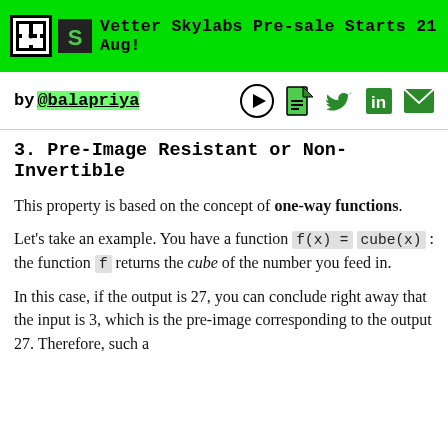Vetter Skylabs Pre-sale Starts 21 Aug!
by @balapriya
3. Pre-Image Resistant or Non-Invertible
This property is based on the concept of one-way functions.
Let's take an example. You have a function f(x) = cube(x) : the function f returns the cube of the number you feed in.
In this case, if the output is 27, you can conclude right away that the input is 3, which is the pre-image corresponding to the output 27. Therefore, such a